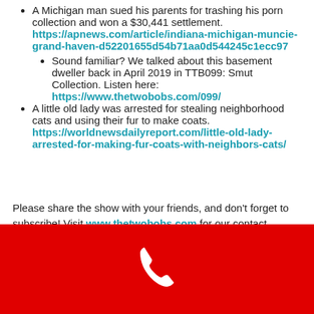A Michigan man sued his parents for trashing his porn collection and won a $30,441 settlement. https://apnews.com/article/indiana-michigan-muncie-grand-haven-d52201655d54b71aa0d544245c1ecc97
Sound familiar? We talked about this basement dweller back in April 2019 in TTB099: Smut Collection. Listen here: https://www.thetwobobs.com/099/
A little old lady was arrested for stealing neighborhood cats and using their fur to make coats. https://worldnewsdailyreport.com/little-old-lady-arrested-for-making-fur-coats-with-neighbors-cats/
Please share the show with your friends, and don’t forget to subscribe! Visit www.thetwobobs.com for our contact information. Thanks for listening!
Leave us a message or text us at 530-882-BOBS (530-882-2627)
[Figure (illustration): Red footer bar with white phone handset icon]